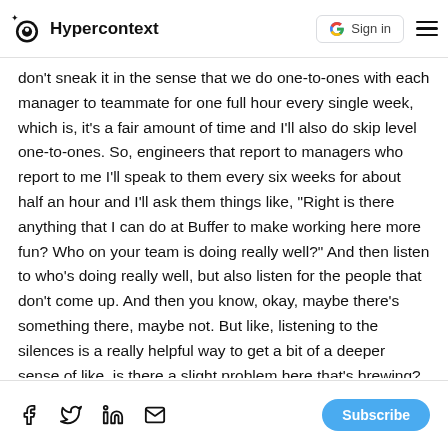Hypercontext | Sign in
don't sneak it in the sense that we do one-to-ones with each manager to teammate for one full hour every single week, which is, it's a fair amount of time and I'll also do skip level one-to-ones. So, engineers that report to managers who report to me I'll speak to them every six weeks for about half an hour and I'll ask them things like, "Right is there anything that I can do at Buffer to make working here more fun? Who on your team is doing really well?" And then listen to who's doing really well, but also listen for the people that don't come up. And then you know, okay, maybe there's something there, maybe not. But like, listening to the silences is a really helpful way to get a bit of a deeper sense of like, is there a slight problem here that's brewing?
Brennan McEachran: Yeah
Social share icons | Subscribe